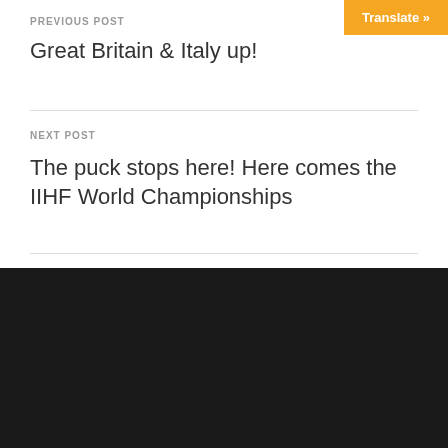PREVIOUS POST
Great Britain & Italy up!
NEXT POST
The puck stops here! Here comes the IIHF World Championships
Translate »
MENU